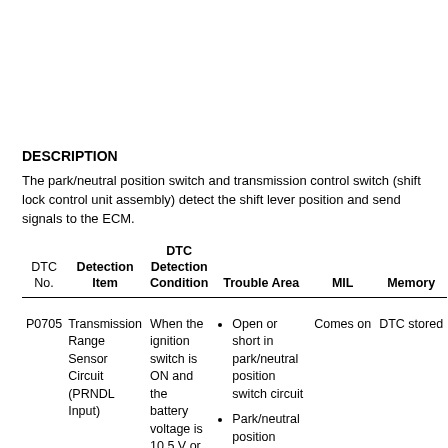DESCRIPTION
The park/neutral position switch and transmission control switch (shift lock control unit assembly) detect the shift lever position and send signals to the ECM.
| DTC No. | Detection Item | DTC Detection Condition | Trouble Area | MIL | Memory |
| --- | --- | --- | --- | --- | --- |
| P0705 | Transmission Range Sensor Circuit (PRNDL Input) | When the ignition switch is ON and the battery voltage is 10.5 V or more, any one of the following conditions is met (2 trip detection logic): | • Open or short in park/neutral position switch circuit
• Park/neutral position switch
• Transmission | Comes on | DTC stored |